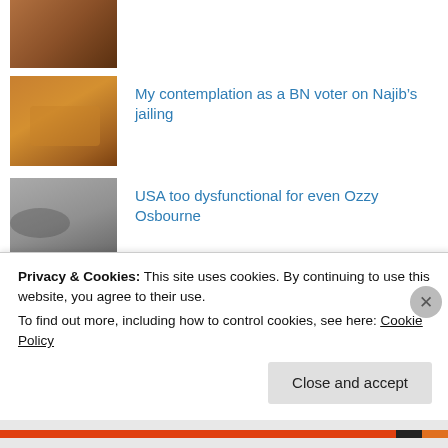[Figure (photo): Partial image of a building/street scene, cropped at top]
[Figure (photo): Orange tabby cat with open mouth]
My contemplation as a BN voter on Najib's jailing
[Figure (photo): Bat with wings spread]
USA too dysfunctional for even Ozzy Osbourne
[Figure (photo): Small brown animal on green background]
Democrats and their cousins the Democratic Action Party
Privacy & Cookies: This site uses cookies. By continuing to use this website, you agree to their use.
To find out more, including how to control cookies, see here: Cookie Policy
Close and accept